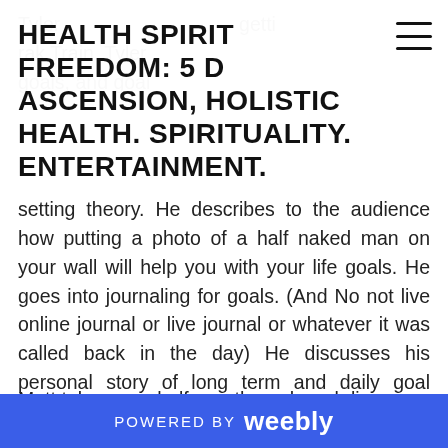HEALTH SPIRIT FREEDOM: 5D ASCENSION, HOLISTIC HEALTH. SPIRITUALITY. ENTERTAINMENT.
setting theory. He describes to the audience how putting a photo of a half naked man on your wall will help you with your life goals. He goes into journaling for goals. (And No not live online journal or live journal or whatever it was called back in the day) He discusses his personal story of long term and daily goal setting when he was on his path to successfully losing 90 pounds. Tyler states that his own personal journaling is what really helped and stated he would post a sample Journal from his journey on HealthHumorLife.com.

Matt takes over half way through and discusses his
POWERED BY weebly